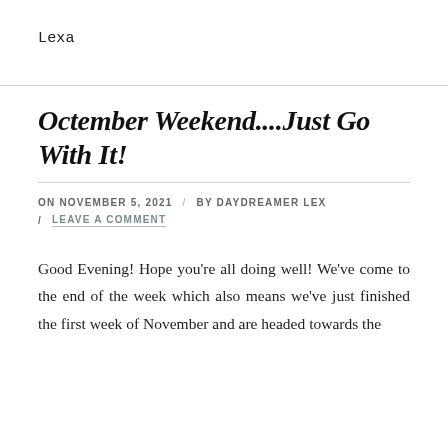Lexa
Octember Weekend....Just Go With It!
ON NOVEMBER 5, 2021 / BY DAYDREAMER LEX / LEAVE A COMMENT
Good Evening! Hope you're all doing well! We've come to the end of the week which also means we've just finished the first week of November and are headed towards the